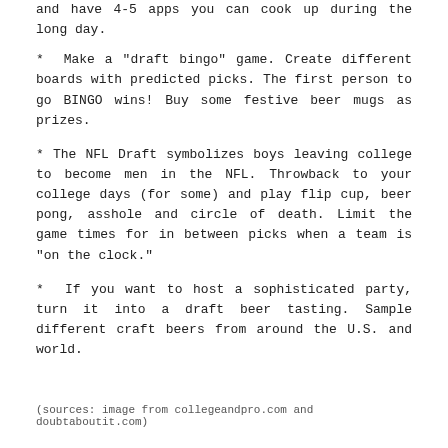and have 4-5 apps you can cook up during the long day.
* Make a "draft bingo" game. Create different boards with predicted picks. The first person to go BINGO wins! Buy some festive beer mugs as prizes.
* The NFL Draft symbolizes boys leaving college to become men in the NFL. Throwback to your college days (for some) and play flip cup, beer pong, asshole and circle of death. Limit the game times for in between picks when a team is "on the clock."
* If you want to host a sophisticated party, turn it into a draft beer tasting. Sample different craft beers from around the U.S. and world.
(sources: image from collegeandpro.com and doubtaboutit.com)
0 comments
IN lifestyle tips: parties